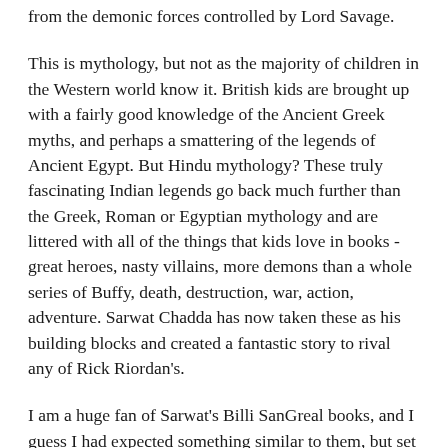from the demonic forces controlled by Lord Savage.
This is mythology, but not as the majority of children in the Western world know it. British kids are brought up with a fairly good knowledge of the Ancient Greek myths, and perhaps a smattering of the legends of Ancient Egypt. But Hindu mythology? These truly fascinating Indian legends go back much further than the Greek, Roman or Egyptian mythology and are littered with all of the things that kids love in books - great heroes, nasty villains, more demons than a whole series of Buffy, death, destruction, war, action, adventure. Sarwat Chadda has now taken these as his building blocks and created a fantastic story to rival any of Rick Riordan's.
I am a huge fan of Sarwat's Billi SanGreal books, and I guess I had expected something similar to them, but set in India. I couldn't have been more wrong. There is the same sublime quality of prose and the perfectly paced plotting, and the same array of great characters and extreme action scenes, but also a previously unrevealed talent for writing comedy. Ash Mistry and the Savage Fortress is aimed at a younger audience (9+) than Sarwat's previous stories, and has given him the chance to inject his